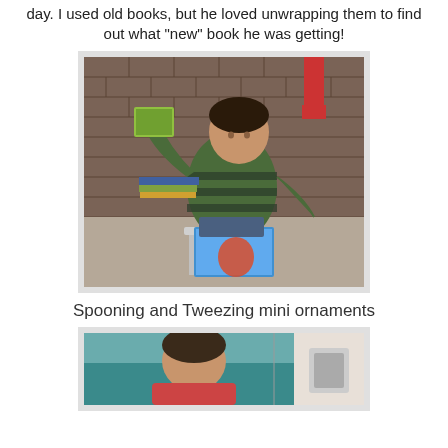day. I used old books, but he loved unwrapping them to find out what "new" book he was getting!
[Figure (photo): A young boy sitting on a small chair near a brick fireplace, unwrapping books. Christmas stockings visible in the background. He is holding an open book with a Santa Claus illustration.]
Spooning and Tweezing mini ornaments
[Figure (photo): Partial view of a child's head from behind, sitting at a teal-colored table, with another person or figure partially visible on the right side.]